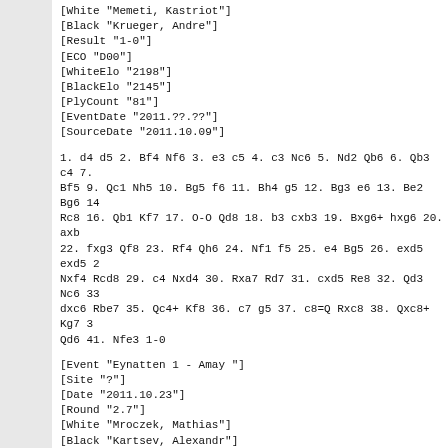[White "Memeti, Kastriot"]
[Black "Krueger, Andre"]
[Result "1-0"]
[ECO "D00"]
[WhiteElo "2198"]
[BlackElo "2145"]
[PlyCount "81"]
[EventDate "2011.??.??"]
[SourceDate "2011.10.09"]
1. d4 d5 2. Bf4 Nf6 3. e3 c5 4. c3 Nc6 5. Nd2 Qb6 6. Qb3 c4 7. Bf5 9. Qc1 Nh5 10. Bg5 f6 11. Bh4 g5 12. Bg3 e6 13. Be2 Bg6 14 Rc8 16. Qb1 Kf7 17. O-O Qd8 18. b3 cxb3 19. Bxg6+ hxg6 20. axb 22. fxg3 Qf8 23. Rf4 Qh6 24. Nf1 f5 25. e4 Bg5 26. exd5 exd5 2 Nxf4 Rcd8 29. c4 Nxd4 30. Rxa7 Rd7 31. cxd5 Re8 32. Qd3 Nc6 33 dxc6 Rbe7 35. Qc4+ Kf8 36. c7 g5 37. c8=Q Rxc8 38. Qxc8+ Kg7 3 Qd6 41. Nfe3 1-0
[Event "Eynatten 1 - Amay "]
[Site "?"]
[Date "2011.10.23"]
[Round "2.7"]
[White "Mroczek, Mathias"]
[Black "Kartsev, Alexandr"]
[Result "0-1"]
[ECO "A11"]
[WhiteElo "2143"]
[BlackElo "2196"]
[PlyCount "86"]
[EventDate "2011.??.??"]
[SourceDate "2011.10.09"]